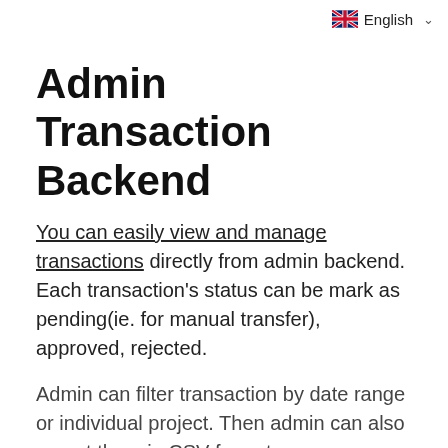English
Admin Transaction Backend
You can easily view and manage transactions directly from admin backend. Each transaction's status can be mark as pending(ie. for manual transfer), approved, rejected.
Admin can filter transaction by date range or individual project. Then admin can also export them in CSV format.